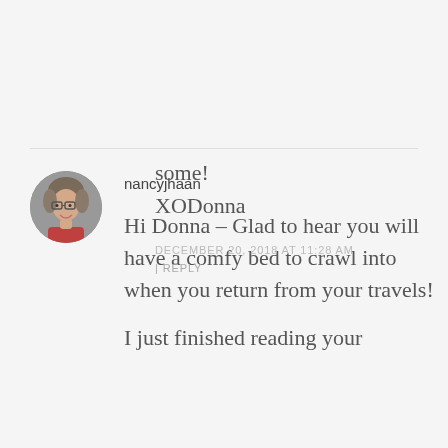some!
XODonna
DECEMBER 20, 2018 AT 11:28 AM
REPLY
nancyjhaan
[Figure (photo): Circular avatar photo of a woman with glasses and short gray hair]
Hi Donna – Glad to hear you will have a comfy bed to crawl into when you return from your travels!
I just finished reading your